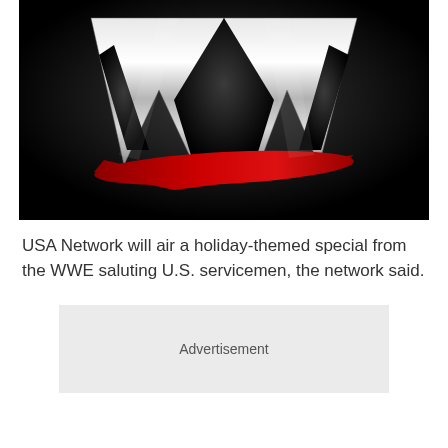[Figure (logo): WWE logo — silver metallic stylized W with red accent swoosh on black background]
USA Network will air a holiday-themed special from the WWE saluting U.S. servicemen, the network said.
Advertisement